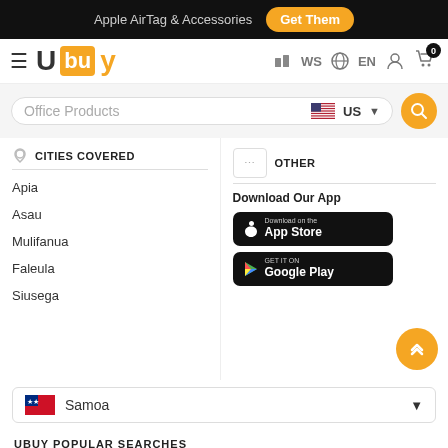Apple AirTag & Accessories  Get Them
[Figure (logo): Ubuy logo with hamburger menu, WS country selector, EN language, user icon, cart icon with 0 badge]
Office Products  US  [search button]
CITIES COVERED
Apia
Asau
Mulifanua
Faleula
Siusega
OTHER
Download Our App
[Figure (screenshot): Download on the App Store button (black)]
[Figure (screenshot): Get it on Google Play button (black)]
Samoa
UBUY POPULAR SEARCHES